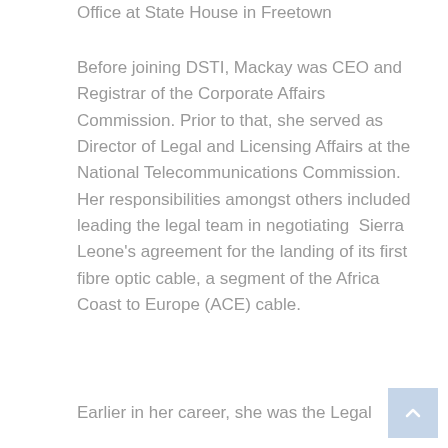Office at State House in Freetown
Before joining DSTI, Mackay was CEO and Registrar of the Corporate Affairs Commission. Prior to that, she served as Director of Legal and Licensing Affairs at the National Telecommunications Commission. Her responsibilities amongst others included leading the legal team in negotiating  Sierra Leone's agreement for the landing of its first fibre optic cable, a segment of the Africa Coast to Europe (ACE) cable.
Earlier in her career, she was the Legal